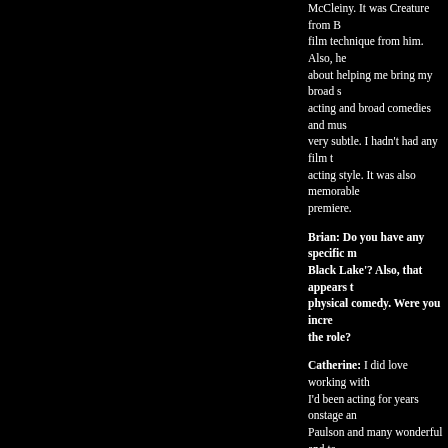McCleiny. It was 'Creature from B... film technique from him. Also, he ... about helping me bring my broad s... acting and broad comedies and mus... very subtle. I hadn't had any film t... acting style. It was also memorable... premiere.
Brian: Do you have any specific m... Black Lake'? Also, that appears t... physical comedy. Were you incre... the role?
Catherine: I did love working with... I'd been acting for years onstage an... Paulson and many wonderful and ta... I'm not afraid...you just have to hol... had to tie me down from doing too...
Brian: Did you get a chance to wa... I think that would be fascinating... a huge fan as a kid. (And, honestl... Do you have any animals present...
Catherine: Frank was wonderful... had worked with Joe as a director o... dream turn into a success. The orig... Once the series became successful a... when they work with animals, they... dog may be trained to whine and pi... cliff into a creek and fetch a child.